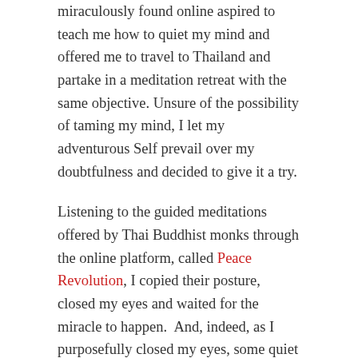miraculously found online aspired to teach me how to quiet my mind and offered me to travel to Thailand and partake in a meditation retreat with the same objective. Unsure of the possibility of taming my mind, I let my adventurous Self prevail over my doubtfulness and decided to give it a try.
Listening to the guided meditations offered by Thai Buddhist monks through the online platform, called Peace Revolution, I copied their posture, closed my eyes and waited for the miracle to happen.  And, indeed, as I purposefully closed my eyes, some quiet joy entered my body and made it soften. The first couple of minutes were always excitingly pleasing, but I could hardly go any further. Soon my mind would once again get flooded by thoughts: unexpected, unwanted guests who came with the promise to stay for a while, yet refused to leave… As if stabbed with knives, my back hurt because of the posture and I had